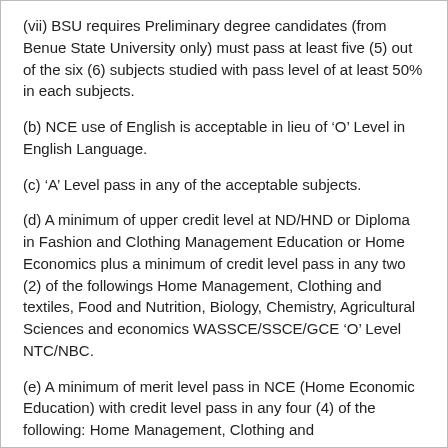(vii) BSU requires Preliminary degree candidates (from Benue State University only) must pass at least five (5) out of the six (6) subjects studied with pass level of at least 50% in each subjects.
(b) NCE use of English is acceptable in lieu of ‘O’ Level in English Language.
(c) ‘A’ Level pass in any of the acceptable subjects.
(d) A minimum of upper credit level at ND/HND or Diploma in Fashion and Clothing Management Education or Home Economics plus a minimum of credit level pass in any two (2) of the followings Home Management, Clothing and textiles, Food and Nutrition, Biology, Chemistry, Agricultural Sciences and economics WASSCE/SSCE/GCE ‘O’ Level NTC/NBC.
(e) A minimum of merit level pass in NCE (Home Economic Education) with credit level pass in any four (4) of the following: Home Management, Clothing and